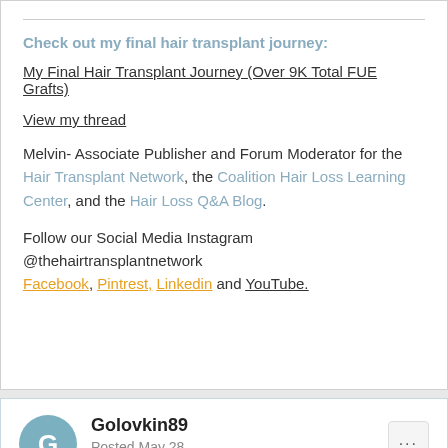Check out my final hair transplant journey:
My Final Hair Transplant Journey (Over 9K Total FUE Grafts)
View my thread
Melvin- Associate Publisher and Forum Moderator for the Hair Transplant Network, the Coalition Hair Loss Learning Center, and the Hair Loss Q&A Blog.
Follow our Social Media Instagram @thehairtransplantnetwork Facebook, Pintrest, Linkedin and YouTube.
Golovkin89
Posted May 28
Thank you for your response Melvin! Its deffinitively from the product. I tried hundreds of times. What I see is that different